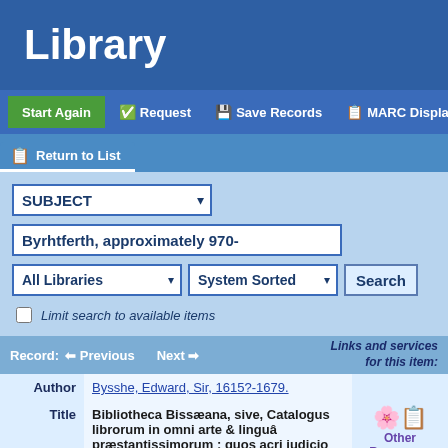Library
Start Again | Request | Save Records | MARC Display
Return to List
SUBJECT | Byrhtferth, approximately 970- | All Libraries | System Sorted | Search | Limit search to available items
Record: Previous   Next   Links and services for this item:
| Field | Value |
| --- | --- |
| Author | Bysshe, Edward, Sir, 1615?-1679. |
| Title | Bibliotheca Bissæana, sive, Catalogus librorum in omni arte & linguâ præstantissimorum : quos acri judicio atque ingenti sumptu undecunque conquisitos eleganter etiam compingi, & |